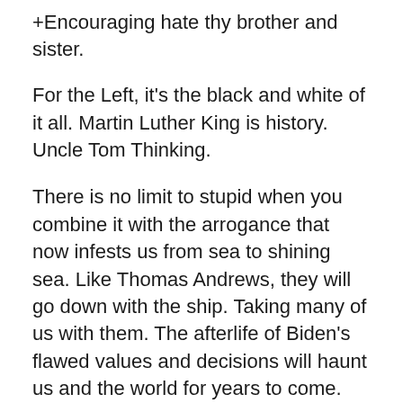+Encouraging hate thy brother and sister.
For the Left, it’s the black and white of it all. Martin Luther King is history. Uncle Tom Thinking.
There is no limit to stupid when you combine it with the arrogance that now infests us from sea to shining sea. Like Thomas Andrews, they will go down with the ship. Taking many of us with them. The afterlife of Biden’s flawed values and decisions will haunt us and the world for years to come.